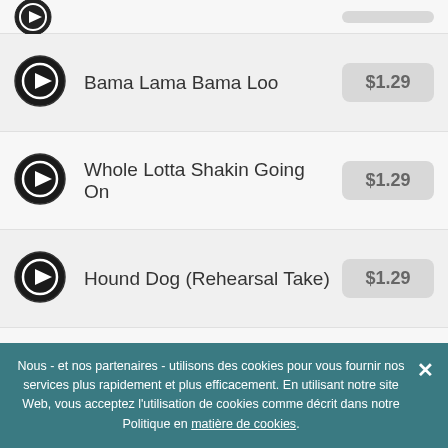Bama Lama Bama Loo - $1.29
Whole Lotta Shakin Going On - $1.29
Hound Dog (Rehearsal Take) - $1.29
Baby (Demo) - $1.29
Live Medley: Ain't That A Shame/I Got A Woman/Tutti Frutti - $1.29
Nous - et nos partenaires - utilisons des cookies pour vous fournir nos services plus rapidement et plus efficacement. En utilisant notre site Web, vous acceptez l'utilisation de cookies comme décrit dans notre Politique en matière de cookies.